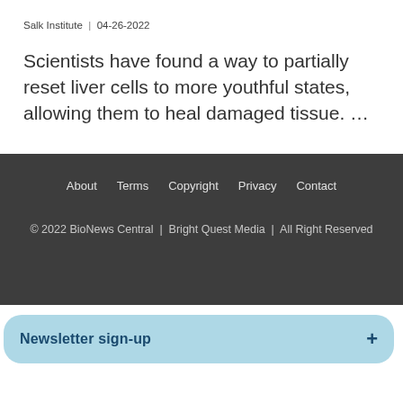Salk Institute  |  04-26-2022
Scientists have found a way to partially reset liver cells to more youthful states, allowing them to heal damaged tissue. …
About   Terms   Copyright   Privacy   Contact
© 2022 BioNews Central  |  Bright Quest Media  |  All Right Reserved
Newsletter sign-up  +